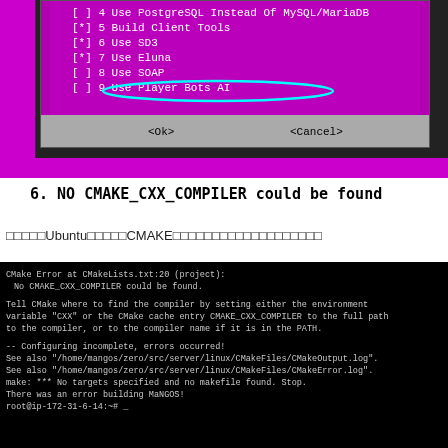[Figure (screenshot): Terminal/dialog screenshot on magenta background showing a checklist menu with options: [ ] 4 Use PostgreSQL Instead Of MySQL/MariaDB, [*] 5 Build Client Tools, [*] 6 Use SD3, [*] 7 Use Eluna, [ ] 8 Use SOAP, [ ] 9 Use Player Bots AI (highlighted with cyan oval). Below is a gray dialog area with <Ok> and <Cancel> buttons.]
6. NO CMAKE_CXX_COMPILER could be found
（文字化け）UbuntuでのCMAKEに関する説明文（文字化け）
[Figure (screenshot): Black terminal screenshot showing CMake error: 'CMake Error at CMakeLists.txt:20 (project): No CMAKE_CXX_COMPILER could be found. Tell CMake where to find the compiler by setting either the environment variable "CXX" or the CMake cache entry CMAKE_CXX_COMPILER to the full path to the compiler, or to the compiler name if it is in the PATH. -- Configuring incomplete, errors occurred! See also "/home/mangos/zero/src/server/linux/CMakeFiles/CMakeOutput.log". See also "/home/mangos/zero/src/server/linux/CMakeFiles/CMakeError.log". make: *** No targets specified and no makefile found. Stop. There was an error building MaNGOS! root@ip-172-31-6-14:~# _']